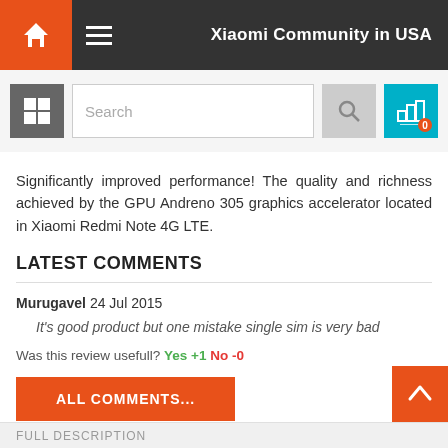Xiaomi Community in USA
[Figure (screenshot): Search bar with grid icon, search input, search button, and compare button with badge showing 0]
Significantly improved performance! The quality and richness achieved by the GPU Andreno 305 graphics accelerator located in Xiaomi Redmi Note 4G LTE.
LATEST COMMENTS
Murugavel 24 Jul 2015
It's good product but one mistake single sim is very bad
Was this review usefull? Yes +1 No -0
ALL COMMENTS...
FULL DESCRIPTION